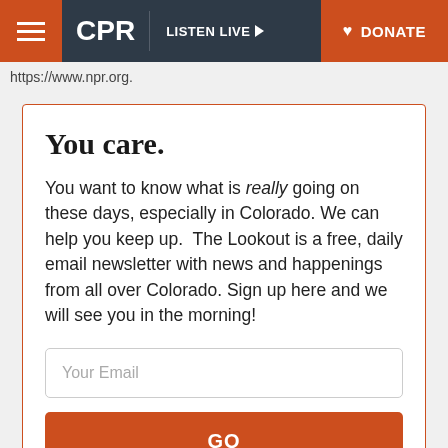CPR | LISTEN LIVE ▶ | DONATE
https://www.npr.org.
You care.
You want to know what is really going on these days, especially in Colorado. We can help you keep up.  The Lookout is a free, daily email newsletter with news and happenings from all over Colorado. Sign up here and we will see you in the morning!
Your Email
GO